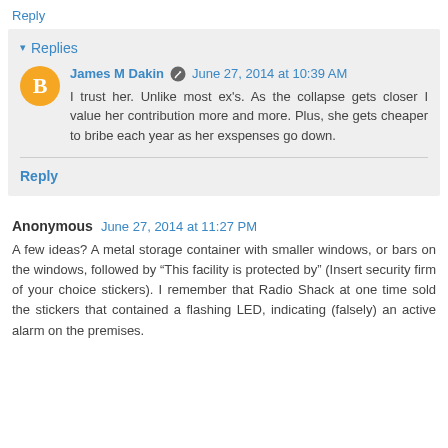Reply
Replies
James M Dakin  June 27, 2014 at 10:39 AM
I trust her. Unlike most ex's. As the collapse gets closer I value her contribution more and more. Plus, she gets cheaper to bribe each year as her exspenses go down.
Reply
Anonymous  June 27, 2014 at 11:27 PM
A few ideas? A metal storage container with smaller windows, or bars on the windows, followed by “This facility is protected by” (Insert security firm of your choice stickers). I remember that Radio Shack at one time sold the stickers that contained a flashing LED, indicating (falsely) an active alarm on the premises.